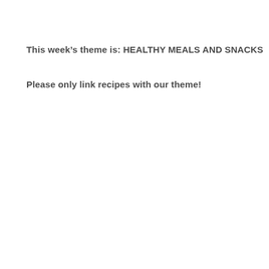This week's theme is: HEALTHY MEALS AND SNACKS
Please only link recipes with our theme!